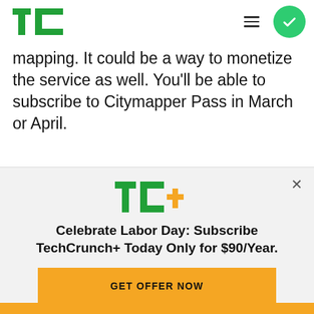TechCrunch header with TC logo, hamburger menu, and green checkmark circle
mapping. It could be a way to monetize the service as well. You'll be able to subscribe to Citymapper Pass in March or April.
[Figure (logo): TechCrunch TC+ logo with green TC letters and gold plus sign]
Celebrate Labor Day: Subscribe TechCrunch+ Today Only for $90/Year.
GET OFFER NOW